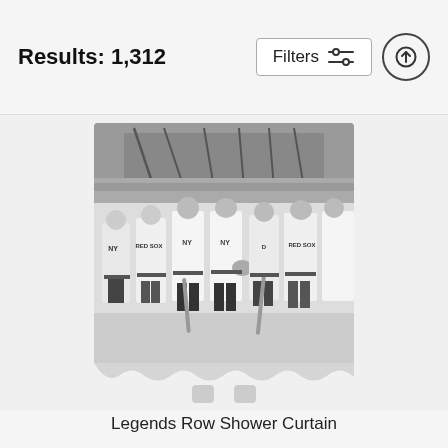Results: 1,312
Filters
[Figure (photo): Black and white vintage photograph of baseball players from multiple teams (New York Yankees, Boston Red Sox, Detroit Tigers) lined up in a row on a baseball field, some holding bats, displayed as a shower curtain product on a curtain rod stand.]
Legends Row Shower Curtain